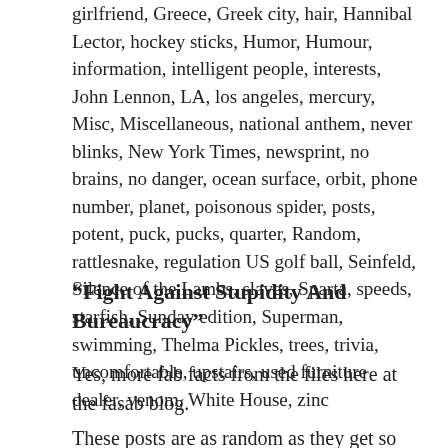girlfriend, Greece, Greek city, hair, Hannibal Lector, hockey sticks, Humor, Humour, information, intelligent people, interests, John Lennon, LA, los angeles, mercury, Misc, Miscellaneous, national anthem, never blinks, New York Times, newsprint, no brains, no danger, ocean surface, orbit, phone number, planet, poisonous spider, posts, potent, puck, pucks, quarter, Random, rattlesnake, regulation US golf ball, Seinfeld, Silence of the Lambs, slaves, Sparta, speeds, starfish, Sunday edition, Superman, swimming, Thelma Pickles, trees, trivia, uncomfortable, upstairs, used furniture dealer, venom, White House, zinc
“Fight Against Stupidity And Bureaucracy”
Yes, more fab facts from the files here at the fasab blog.
These posts are as random as they get so don’t follow any logical blog post connections in